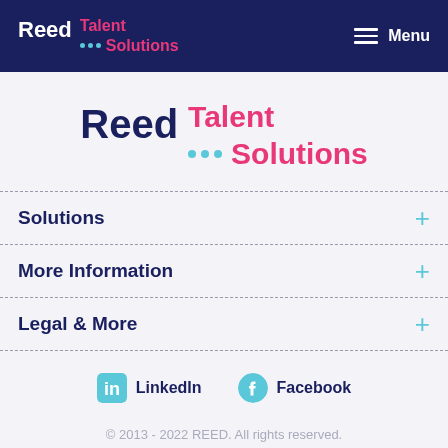Reed Talent Solutions — Menu
[Figure (logo): Reed Talent Solutions logo (large, centered) with Reed in navy, Talent Solutions in pink, three cyan dots]
Solutions
More Information
Legal & More
LinkedIn   Facebook
© 2013 - 2022 REED. All rights reserved.